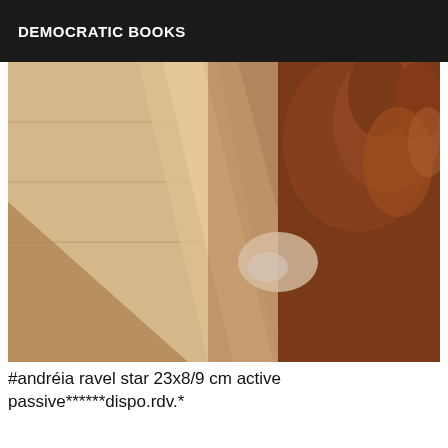DEMOCRATIC BOOKS
[Figure (photo): Close-up photograph showing a hand touching or pointing at a corner of wooden furniture or flooring, with warm brown tones and light glare visible.]
#andréia ravel star 23x8/9 cm active passive******dispo.rdv.*